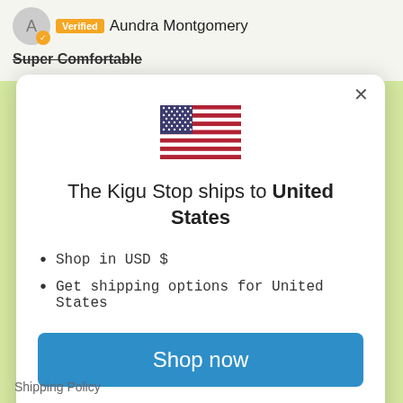A  Verified  Aundra Montgomery
Super Comfortable
[Figure (illustration): US flag emoji centered in modal]
The Kigu Stop ships to United States
Shop in USD $
Get shipping options for United States
Shop now
Change shipping country
Shipping Policy